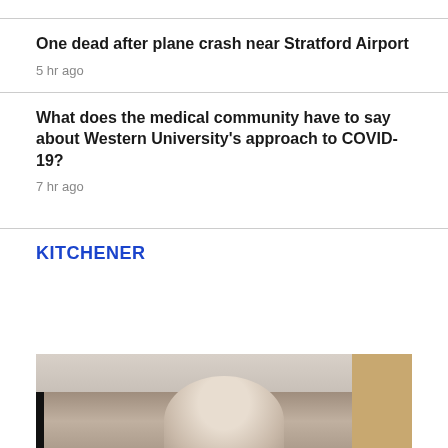One dead after plane crash near Stratford Airport
5 hr ago
What does the medical community have to say about Western University's approach to COVID-19?
7 hr ago
KITCHENER
[Figure (photo): Video thumbnail showing an older man with white hair in an indoor setting with a dropped ceiling, photographed from approximately chest level up.]